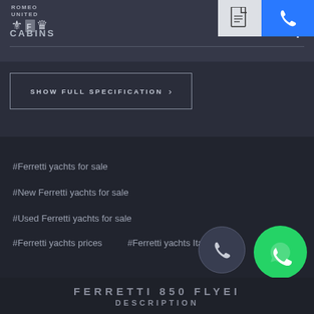ROMEO UNITED CABINS
CABINS    4
[Figure (screenshot): PDF download icon button (top right)]
[Figure (screenshot): Phone call icon button in blue (top right corner)]
SHOW FULL SPECIFICATION >
#Ferretti yachts for sale
#New Ferretti yachts for sale
#Used Ferretti yachts for sale
#Ferretti yachts prices
#Ferretti yachts Italy
[Figure (screenshot): Phone circle button (dark, bottom right area)]
[Figure (screenshot): WhatsApp circle button (green, bottom right)]
FERRETTI 850 FLYEI
DESCRIPTION